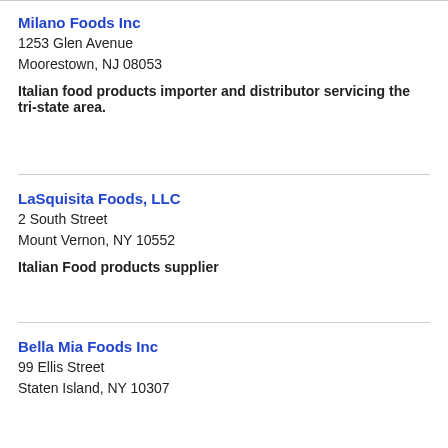Milano Foods Inc
1253 Glen Avenue
Moorestown, NJ 08053
Italian food products importer and distributor servicing the tri-state area.
LaSquisita Foods, LLC
2 South Street
Mount Vernon, NY 10552
Italian Food products supplier
Bella Mia Foods Inc
99 Ellis Street
Staten Island, NY 10307